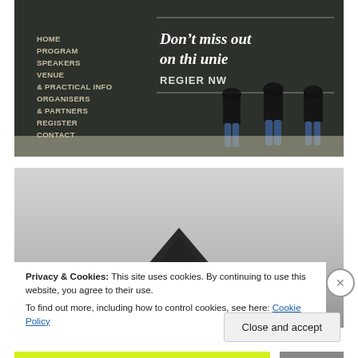[Figure (photo): Photo of people writing on a large dark chalkboard wall. The chalkboard displays a navigation menu on the left (HOME, PROGRAM, SPEAKERS, VENUE, & PRACTICAL INFO, ORGANISERS, & PARTNERS, REGISTER, CONTACT) and promotional text on the right: 'Don't miss out on this unique... REGISTER NOW' with horizontal chalk lines above and below. Three or four people in black tops and jeans are seen from behind writing on the board.]
[Figure (photo): Partial photo showing a light gray background with a dark triangular/angular object (appears to be a dark booklet or card) visible at the bottom center.]
Privacy & Cookies: This site uses cookies. By continuing to use this website, you agree to their use.
To find out more, including how to control cookies, see here: Cookie Policy